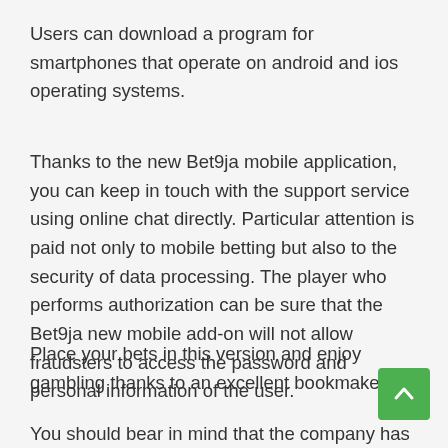Users can download a program for smartphones that operate on android and ios operating systems.
Thanks to the new Bet9ja mobile application, you can keep in touch with the support service using online chat directly. Particular attention is paid not only to mobile betting but also to the security of data processing. The player who performs authorization can be sure that the Bet9ja new mobile add-on will not allow fraudsters to access the password and personal information of the user.
Place your bets in this version and enjoy gambling thanks to an excellent bookmaker.
You should bear in mind that the company has